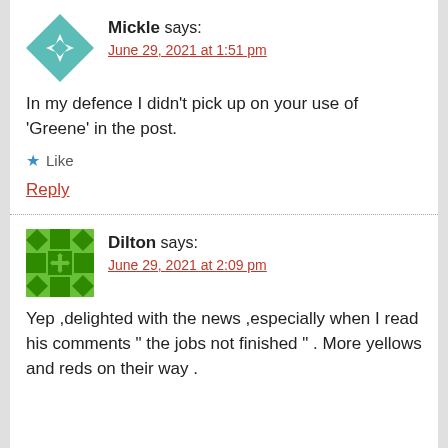[Figure (illustration): Teal/white quilt-pattern avatar for user Mickle]
Mickle says:
June 29, 2021 at 1:51 pm
In my defence I didn't pick up on your use of 'Greene' in the post.
★ Like
Reply
[Figure (illustration): Green quilt-pattern avatar for user Dilton]
Dilton says:
June 29, 2021 at 2:09 pm
Yep ,delighted with the news ,especially when I read his comments " the jobs not finished " . More yellows and reds on their way .